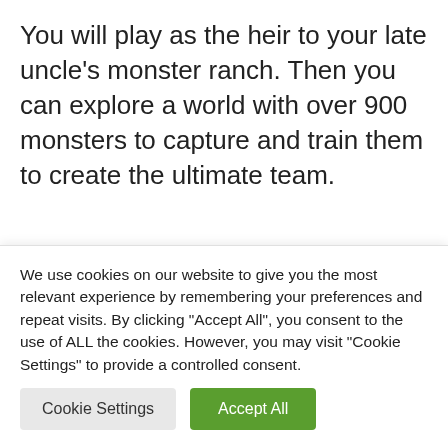You will play as the heir to your late uncle's monster ranch. Then you can explore a world with over 900 monsters to capture and train them to create the ultimate team.
The +:
Those who love Pokémon should love ...
A lifetime
We use cookies on our website to give you the most relevant experience by remembering your preferences and repeat visits. By clicking "Accept All", you consent to the use of ALL the cookies. However, you may visit "Cookie Settings" to provide a controlled consent.